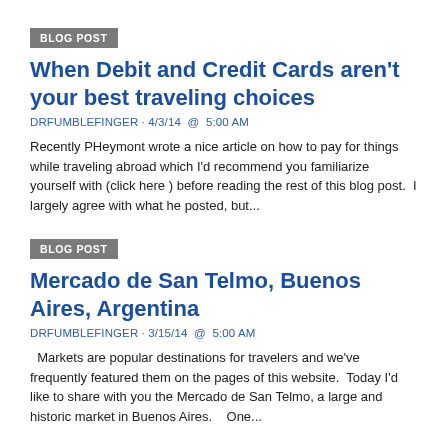BLOG POST
When Debit and Credit Cards aren't your best traveling choices
DRFUMBLEFINGER · 4/3/14  @  5:00 AM
Recently PHeymont wrote a nice article on how to pay for things while traveling abroad which I'd recommend you familiarize yourself with (click here ) before reading the rest of this blog post.  I largely agree with what he posted, but...
BLOG POST
Mercado de San Telmo, Buenos Aires, Argentina
DRFUMBLEFINGER · 3/15/14  @  5:00 AM
Markets are popular destinations for travelers and we've frequently featured them on the pages of this website.  Today I'd like to share with you the Mercado de San Telmo, a large and historic market in Buenos Aires.    One...
BLOG POST